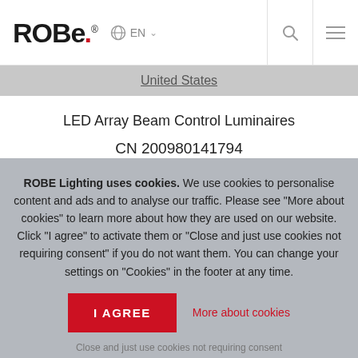ROBE® EN
United States
LED Array Beam Control Luminaires
CN 200980141794
ROBE Lighting uses cookies. We use cookies to personalise content and ads and to analyse our traffic. Please see "More about cookies" to learn more about how they are used on our website. Click "I agree" to activate them or "Close and just use cookies not requiring consent" if you do not want them. You can change your settings on "Cookies" in the footer at any time.
I AGREE
More about cookies
Close and just use cookies not requiring consent